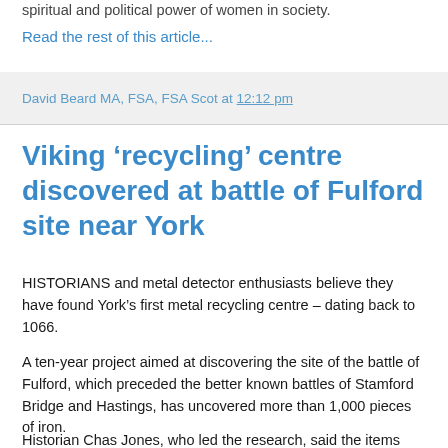spiritual and political power of women in society.
Read the rest of this article...
David Beard MA, FSA, FSA Scot at 12:12 pm
Viking ‘recycling’ centre discovered at battle of Fulford site near York
HISTORIANS and metal detector enthusiasts believe they have found York’s first metal recycling centre – dating back to 1066.
A ten-year project aimed at discovering the site of the battle of Fulford, which preceded the better known battles of Stamford Bridge and Hastings, has uncovered more than 1,000 pieces of iron.
Historian Chas Jones, who led the research, said the items